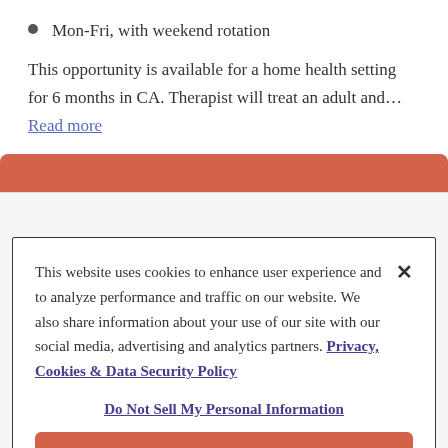Mon-Fri, with weekend rotation
This opportunity is available for a home health setting for 6 months in CA. Therapist will treat an adult and... Read more
This website uses cookies to enhance user experience and to analyze performance and traffic on our website. We also share information about your use of our site with our social media, advertising and analytics partners. Privacy, Cookies & Data Security Policy
Do Not Sell My Personal Information
Accept Cookies